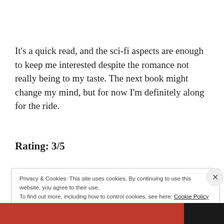It's a quick read, and the sci-fi aspects are enough to keep me interested despite the romance not really being to my taste. The next book might change my mind, but for now I'm definitely along for the ride.
Rating: 3/5
Privacy & Cookies: This site uses cookies. By continuing to use this website, you agree to their use.
To find out more, including how to control cookies, see here: Cookie Policy
Close and accept